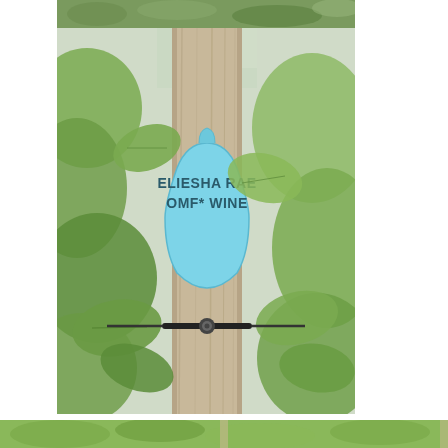[Figure (photo): Top portion of a previous photo showing green vineyard foliage — partial crop at top of page]
[Figure (photo): A wooden vineyard post with grape vine leaves on both sides, and a light blue ear tag attached reading 'ELIESHA RAE OMF* WINE', with a cable tie also attached to the post]
[Figure (photo): Partial view of vineyard rows at the bottom of the page, showing green grapevine foliage]